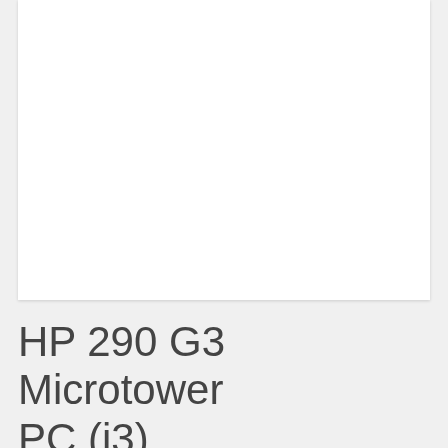[Figure (photo): White rectangular image area showing an HP 290 G3 Microtower PC product photo (blank/white in this render)]
HP 290 G3 Microtower PC (i3)